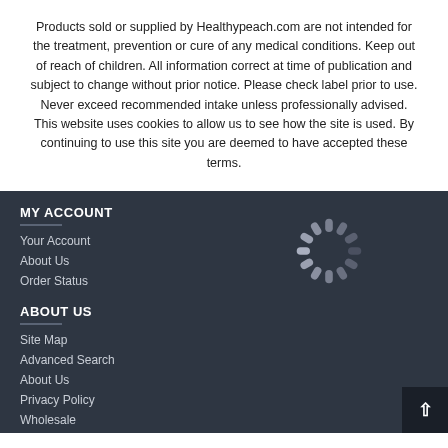Products sold or supplied by Healthypeach.com are not intended for the treatment, prevention or cure of any medical conditions. Keep out of reach of children. All information correct at time of publication and subject to change without prior notice. Please check label prior to use. Never exceed recommended intake unless professionally advised. This website uses cookies to allow us to see how the site is used. By continuing to use this site you are deemed to have accepted these terms.
MY ACCOUNT
Your Account
About Us
Order Status
[Figure (other): Loading spinner graphic - circular spinner with radial dashes]
ABOUT US
Site Map
Advanced Search
About Us
Privacy Policy
Wholesale